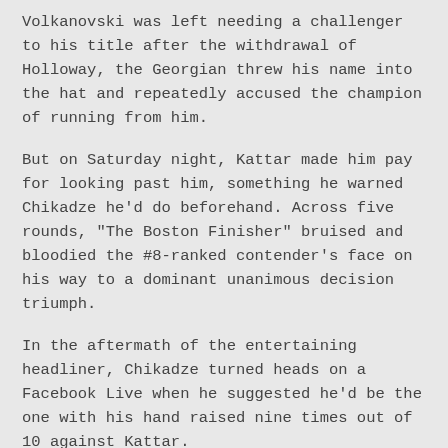Volkanovski was left needing a challenger to his title after the withdrawal of Holloway, the Georgian threw his name into the hat and repeatedly accused the champion of running from him.
But on Saturday night, Kattar made him pay for looking past him, something he warned Chikadze he'd do beforehand. Across five rounds, "The Boston Finisher" bruised and bloodied the #8-ranked contender's face on his way to a dominant unanimous decision triumph.
In the aftermath of the entertaining headliner, Chikadze turned heads on a Facebook Live when he suggested he'd be the one with his hand raised nine times out of 10 against Kattar.
"I feel like if I would fight with this guy 10 times, 9 I would win," Chikadze said. "That would be the one I would lose and that was last night. It is what it is. I